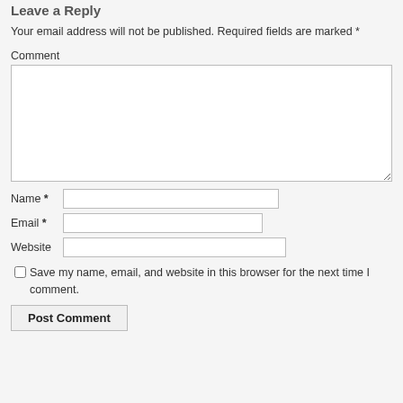Leave a Reply
Your email address will not be published. Required fields are marked *
Comment
Name *
Email *
Website
Save my name, email, and website in this browser for the next time I comment.
Post Comment